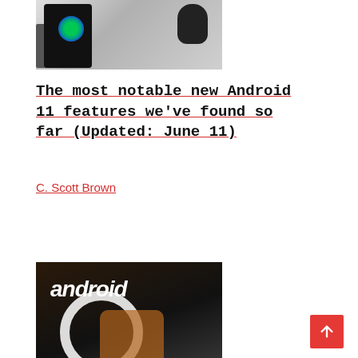[Figure (photo): A smartphone showing an Android 11 developer preview screen with a blue/green circle logo, alongside a black mouse and keyboard on a white surface.]
The most notable new Android 11 features we've found so far (Updated: June 11)
C. Scott Brown
[Figure (photo): A hand holding a smartphone displaying 'android' text and a partial circle logo, against a dark brown background.]